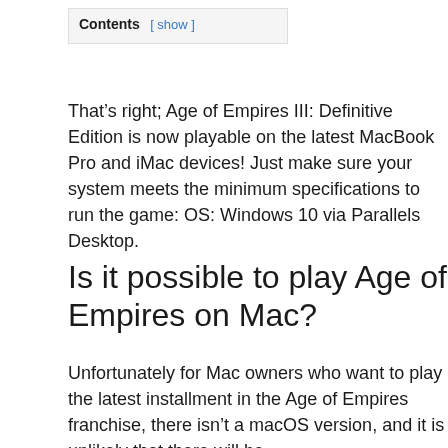Contents [ show ]
That’s right; Age of Empires III: Definitive Edition is now playable on the latest MacBook Pro and iMac devices! Just make sure your system meets the minimum specifications to run the game: OS: Windows 10 via Parallels Desktop.
Is it possible to play Age of Empires on Mac?
Unfortunately for Mac owners who want to play the latest installment in the Age of Empires franchise, there isn’t a macOS version, and it is unlikely that there will be